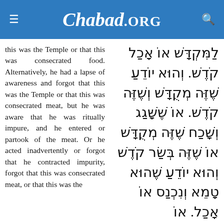Chabad.ORG
this was the Temple or that this was consecrated food. Alternatively, he had a lapse of awareness and forgot that this was the Temple or that this was consecrated meat, but he was aware that he was ritually impure, and he entered or partook of the meat. Or he acted inadvertently or forgot that he contracted impurity, forgot that this was consecrated meat, or that this was the
לַמִּקְדָּשׁ אוֹ אָכַל קֹדֶשׁ. וְהוּא יוֹדֵעַ שֶׁזֶּה מְקֻדָּשׁ וְשֶׁזֶּה קֹדֶשׁ. אוֹ שֶׁשָּׁגַג וְשָׁכַח שֶׁזֶּה מְקֻדָּשׁ אוֹ שֶׁזֶּה בְּשַׂר קֹדֶשׁ וְהוּא יוֹדֵעַ שֶׁהוּא טָמֵא וְנִכְנַס אוֹ אָכַל. אוֹ